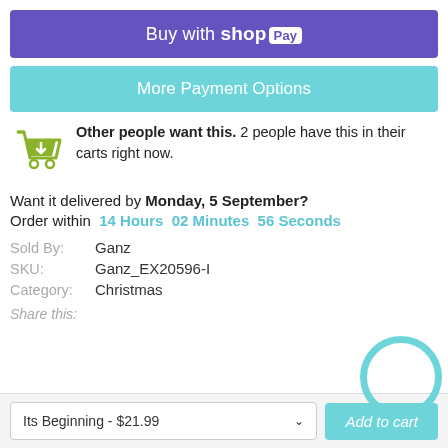Buy with shop Pay
More Payment Options
Other people want this. 2 people have this in their carts right now.
Want it delivered by Monday, 5 September?
Order within 14 Hours 02 Minutes 56 Seconds
Sold By: Ganz
SKU: Ganz_EX20596-I
Category: Christmas
Share this:
Its Beginning - $21.99
Add to cart